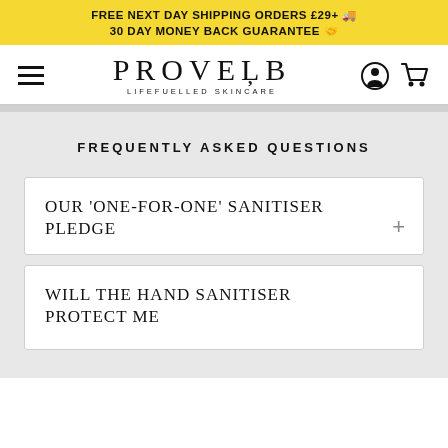FREE NEXT DAY SHIPPING ORDERS £29+ 🚚
30 DAY MONEY BACK GUARANTEE 🤝
[Figure (logo): PROVERB LIFEFUELLED SKINCARE logo with hamburger menu, user icon, and shopping cart icon]
FREQUENTLY ASKED QUESTIONS
OUR 'ONE-FOR-ONE' SANITISER PLEDGE
WILL THE HAND SANITISER PROTECT ME